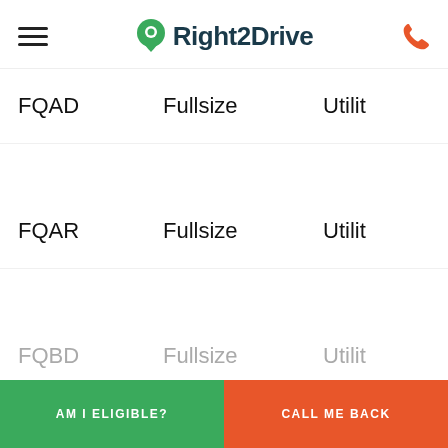[Figure (logo): Right2Drive logo with green location pin icon and dark teal wordmark, hamburger menu on left, orange phone icon on right]
FQAD	Fullsize	Utility
FQAR	Fullsize	Utility
FQBD	Fullsize	Utility
AM I ELIGIBLE?
CALL ME BACK